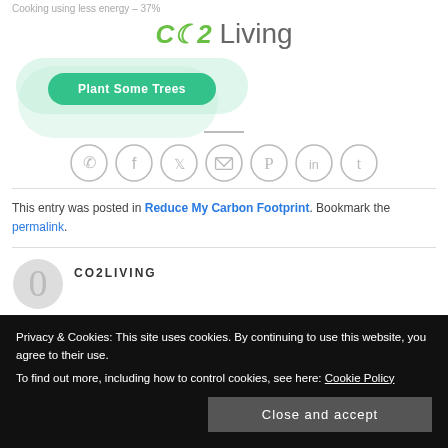Cooking using less energy – 37%
[Figure (logo): CO2 Living logo with green CO2 text and leaf icon, grey Living text]
[Figure (illustration): Plant Some Trees green rounded button with faint green oval background]
[Figure (infographic): Social sharing icons row: WhatsApp, Facebook, Twitter, Email, Pinterest, LinkedIn, Tumblr]
This entry was posted in Reduce My Carbon Footprint. Bookmark the permalink.
CO2LIVING
Privacy & Cookies: This site uses cookies. By continuing to use this website, you agree to their use. To find out more, including how to control cookies, see here: Cookie Policy
Close and accept
Most Effective Ways To
What is the carbon footprint